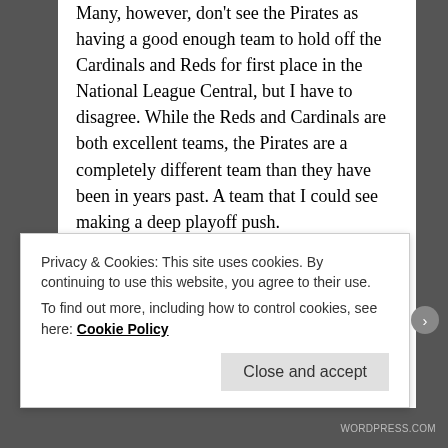Many, however, don't see the Pirates as having a good enough team to hold off the Cardinals and Reds for first place in the National League Central, but I have to disagree. While the Reds and Cardinals are both excellent teams, the Pirates are a completely different team than they have been in years past. A team that I could see making a deep playoff push.
The Pirates have a decent pitching staff — in veterans A.J. Burnett and Jason Grilli (their closer), as well as rookie Gerritt Cole — and while they haven't been anywhere near dominant for the majority of the year, they've found a way to come through in big games–the same holding true for the rest of the team. Andrew McCutchen has had a great season, and newly acquired
Privacy & Cookies: This site uses cookies. By continuing to use this website, you agree to their use.
To find out more, including how to control cookies, see here: Cookie Policy